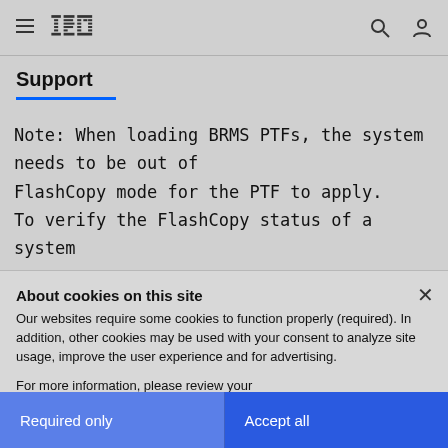IBM Support - navigation bar with hamburger menu, IBM logo, search and user icons
Support
Note: When loading BRMS PTFs, the system needs to be out of FlashCopy mode for the PTF to apply. To verify the FlashCopy status of a system
About cookies on this site
Our websites require some cookies to function properly (required). In addition, other cookies may be used with your consent to analyze site usage, improve the user experience and for advertising.
For more information, please review your Cookie preferences options and IBM's privacy statement.
Required only
Accept all